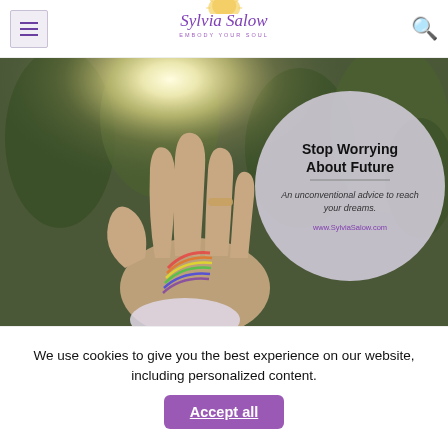Sylvia Salow – Embody Your Soul
[Figure (photo): A hand reaching upward toward sunlight through trees, with a rainbow light on the palm. Overlaid circle with text: Stop Worrying About Future – An unconventional advice to reach your dreams. www.SylviaSalow.com]
We use cookies to give you the best experience on our website, including personalized content.
Accept all